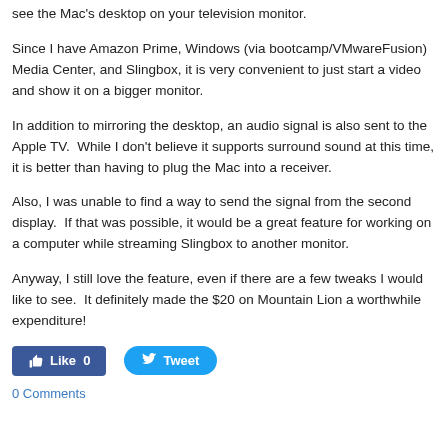see the Mac's desktop on your television monitor.
Since I have Amazon Prime, Windows (via bootcamp/VMwareFusion) Media Center, and Slingbox, it is very convenient to just start a video and show it on a bigger monitor.
In addition to mirroring the desktop, an audio signal is also sent to the Apple TV.  While I don't believe it supports surround sound at this time, it is better than having to plug the Mac into a receiver.
Also, I was unable to find a way to send the signal from the second display.  If that was possible, it would be a great feature for working on a computer while streaming Slingbox to another monitor.
Anyway, I still love the feature, even if there are a few tweaks I would like to see.  It definitely made the $20 on Mountain Lion a worthwhile expenditure!
[Figure (other): Social sharing buttons: Facebook Like (0) and Twitter Tweet]
0 Comments